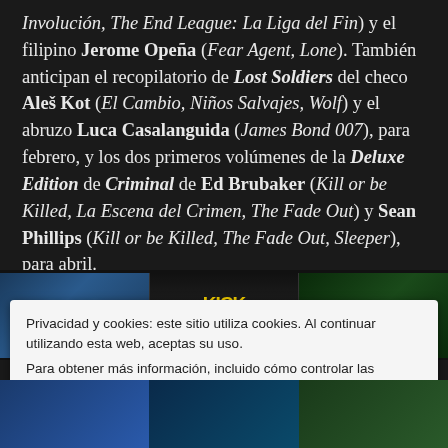Involución, The End League: La Liga del Fin) y el filipino Jerome Opeña (Fear Agent, Lone). También anticipan el recopilatorio de Lost Soldiers del checo Aleš Kot (El Cambio, Niños Salvajes, Wolf) y el abruzo Luca Casalanguida (James Bond 007), para febrero, y los dos primeros volúmenes de la Deluxe Edition de Criminal de Ed Brubaker (Kill or be Killed, La Escena del Crimen, The Fade Out) y Sean Phillips (Kill or be Killed, The Fade Out, Sleeper), para abril.
[Figure (photo): Strip of comic book covers partially visible: a dark blue cover with stylized text, a Kick Hit cover with yellow and white text on dark background, and a Lost cover with green text on dark background.]
Privacidad y cookies: este sitio utiliza cookies. Al continuar utilizando esta web, aceptas su uso.
Para obtener más información, incluido cómo controlar las cookies, consulta aquí: Política de cookies
Cerrar y aceptar
[Figure (photo): Bottom strip showing partial comic book covers in blue/teal and green tones.]